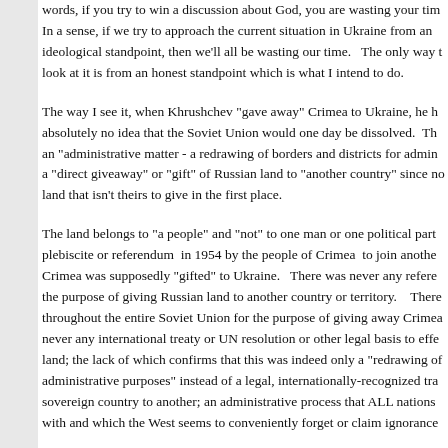words, if you try to win a discussion about God, you are wasting your time. In a sense, if we try to approach the current situation in Ukraine from an ideological standpoint, then we'll all be wasting our time.   The only way to look at it is from an honest standpoint which is what I intend to do.
The way I see it, when Khrushchev "gave away" Crimea to Ukraine, he had absolutely no idea that the Soviet Union would one day be dissolved.  This was an "administrative matter - a redrawing of borders and districts for administrative a "direct giveaway" or "gift" of Russian land to "another country" since no one gave land that isn't theirs to give in the first place.
The land belongs to "a people" and "not" to one man or one political party.  No plebiscite or referendum  in 1954 by the people of Crimea  to join another republic. Crimea was supposedly "gifted" to Ukraine.   There was never any referendum for the purpose of giving Russian land to another country or territory.    There was no vote throughout the entire Soviet Union for the purpose of giving away Crimea.  There was never any international treaty or UN resolution or other legal basis to effectuate this transfer of land; the lack of which confirms that this was indeed only a "redrawing of borders for administrative purposes" instead of a legal, internationally-recognized transfer of land from one sovereign country to another; an administrative process that ALL nations are familiar with and which the West seems to conveniently forget or claim ignorance of.
There was never any "due consideration" for such land giveaway.  "Due consideration" means you are giving away or doing something in return for something of  "value".   The question then becomes:  Even if Ukraine was a separate and distinct co...